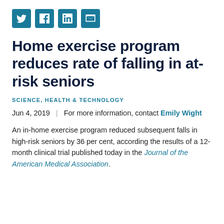[Figure (other): Four social media sharing icons: Twitter (bird), Facebook (f), LinkedIn (in), Email (envelope), each in a teal square button]
Home exercise program reduces rate of falling in at-risk seniors
SCIENCE, HEALTH & TECHNOLOGY
Jun 4, 2019 | For more information, contact Emily Wight
An in-home exercise program reduced subsequent falls in high-risk seniors by 36 per cent, according the results of a 12-month clinical trial published today in the Journal of the American Medical Association.